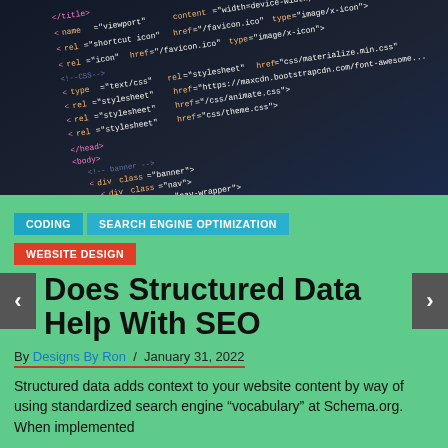[Figure (photo): Dark background photo of HTML/CSS source code with colored syntax highlighting on a monitor screen, shot at an angle]
CODING
SEARCH ENGINE OPTIMIZATION
WEBSITE DESIGN
Does Structured Data Help With SEO
By Designs By Ron  /  January 31, 2022
Structured data adds context to your website content by way of using standardized search engine “vocabulary” at Schema.org. When implemented